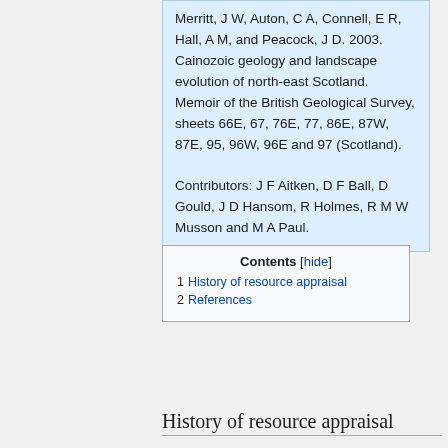Merritt, J W, Auton, C A, Connell, E R, Hall, A M, and Peacock, J D. 2003. Cainozoic geology and landscape evolution of north-east Scotland. Memoir of the British Geological Survey, sheets 66E, 67, 76E, 77, 86E, 87W, 87E, 95, 96W, 96E and 97 (Scotland).

Contributors: J F Aitken, D F Ball, D Gould, J D Hansom, R Holmes, R M W Musson and M A Paul.
| Contents |
| --- |
| 1  History of resource appraisal |
| 2  References |
History of resource appraisal